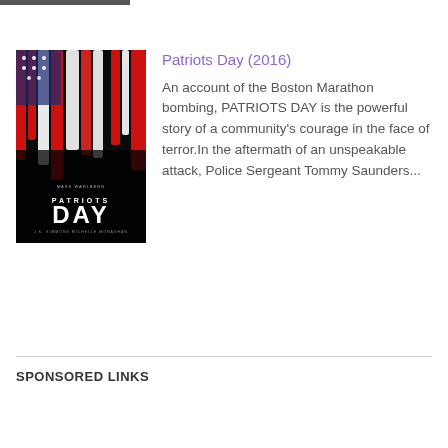[Figure (photo): Partial dark image bar at top, cropped]
[Figure (photo): Patriots Day (2016) movie poster showing American flag with dripping red, white, and blue paint streaks on a dark background, with text PATRIOTS DAY at the bottom]
Patriots Day (2016)
An account of the Boston Marathon bombing, PATRIOTS DAY is the powerful story of a community's courage in the face of terror.In the aftermath of an unspeakable attack, Police Sergeant Tommy Saunders...
SPONSORED LINKS